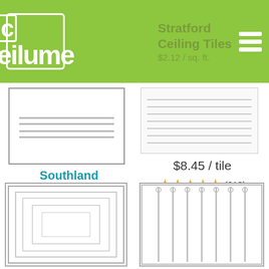ceilume® — Stratford Ceiling Tiles $2.12 / sq. ft.
[Figure (illustration): Southland Ceiling Panels line drawing showing two horizontal rails]
Southland Ceiling Panels
$2.04 / sq. ft.
$16.25 / panel
★★★★★ (23)
$8.45 / tile
★★★★★ (213)
[Figure (illustration): Square coffered ceiling tile with nested square border detail]
[Figure (illustration): Linear striped ceiling panel with vertical parallel lines]